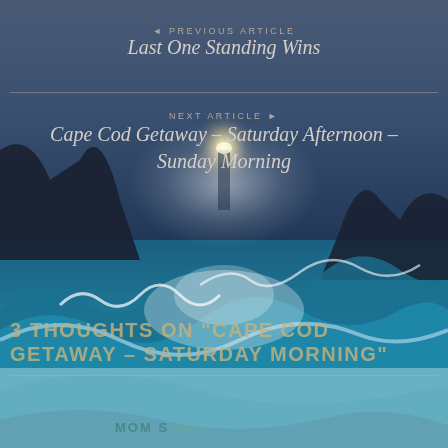◄ PREVIOUS ARTICLE
Last One Standing Wins
NEXT ARTICLE ►
Cape Cod Getaway – Saturday Afternoon – Sunday Morning
[Figure (illustration): Dramatic ocean scene with crashing waves and a glowing lighthouse figure in stormy seas, dark cliffs on the sides, digital painting style]
3 THOUGHTS ON "CAPE COD GETAWAY – SATURDAY MORNING"
MOM S says: